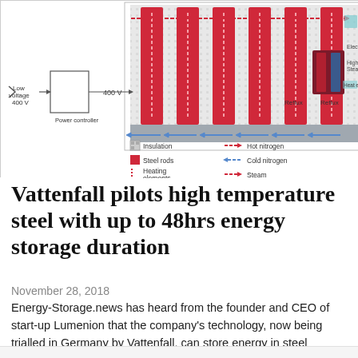[Figure (schematic): Engineering schematic of a high-temperature steel thermal energy storage system showing: power controller connected at 400V low voltage, steel rods (red vertical columns) with heating elements inside insulation, nitrogen and steam flow arrows, reflux connections, and a legend identifying: Insulation, Steel rods, Heating elements, Generator, Hot nitrogen, Cold nitrogen, Steam, Water reflux.]
Vattenfall pilots high temperature steel with up to 48hrs energy storage duration
November 28, 2018
Energy-Storage.news has heard from the founder and CEO of start-up Lumenion that the company's technology, now being trialled in Germany by Vattenfall, can store energy in steel structures for up to 48 hours.